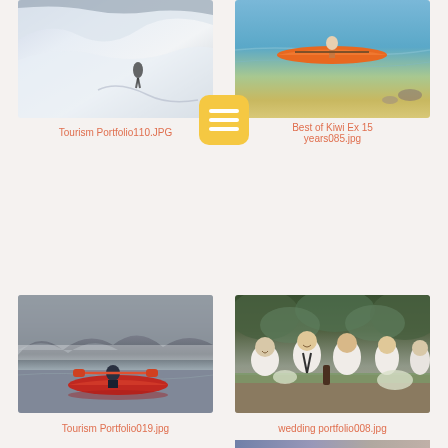[Figure (photo): Snow skiing/mountaineering scene with snowy slopes and mountain peaks]
Tourism Portfolio110.JPG
[Figure (photo): Orange kayak on clear shallow beach water]
Best of Kiwi Ex 15 years085.jpg
[Figure (photo): Red kayak on a misty lake with mountain backdrop]
Tourism Portfolio019.jpg
[Figure (photo): Group of men in white shirts at wedding reception table with greenery]
wedding portfolio008.jpg
[Figure (photo): Partial photo visible at bottom right, purple/sunset tones]